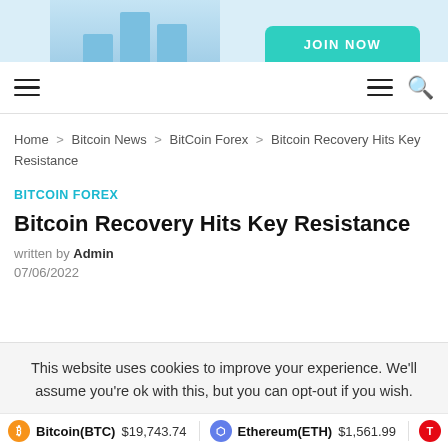[Figure (illustration): Top advertisement banner with bar chart graphic on left and a teal/cyan 'Join Now' button on the right]
Navigation bar with hamburger menu icons and search icon
Home > Bitcoin News > BitCoin Forex > Bitcoin Recovery Hits Key Resistance
BITCOIN FOREX
Bitcoin Recovery Hits Key Resistance
written by Admin
07/06/2022
This website uses cookies to improve your experience. We'll assume you're ok with this, but you can opt-out if you wish.
Bitcoin(BTC) $19,743.74   Ethereum(ETH) $1,561.99   T...